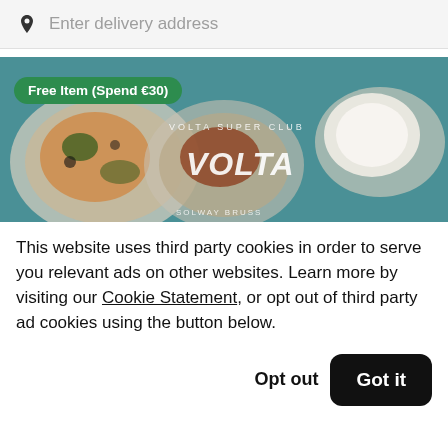Enter delivery address
[Figure (screenshot): Food delivery app screenshot showing a restaurant hero image with VOLTA branding and a 'Free Item (Spend €30)' badge. The image shows Italian dishes including pizza and burrata on a teal background.]
This website uses third party cookies in order to serve you relevant ads on other websites. Learn more by visiting our Cookie Statement, or opt out of third party ad cookies using the button below.
Opt out
Got it